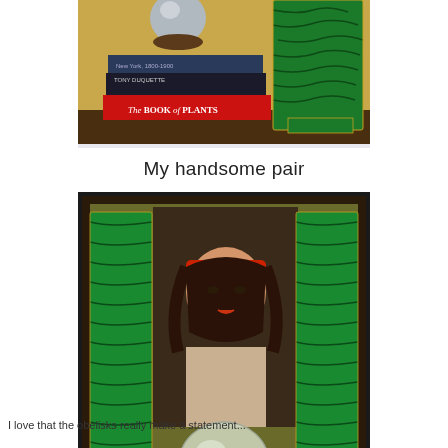[Figure (photo): Photo showing green malachite obelisk decorative objects next to stacked books including 'Tony Duquette' and 'The Book of Plants' with a silver sphere on top]
My handsome pair
[Figure (photo): Photo showing a pair of green malachite obelisks flanking a vintage portrait painting of a woman with red headband, with a crystal ball in the foreground, displayed on a shelf]
I love that the obelisks really make a statement...